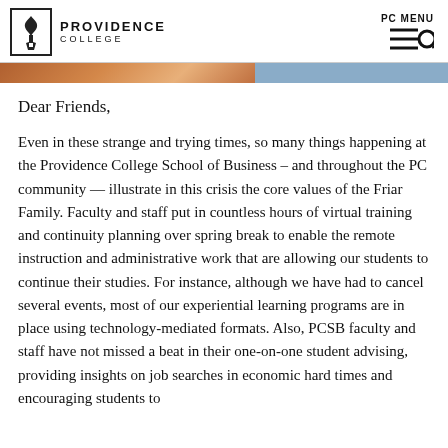PROVIDENCE COLLEGE — PC MENU
[Figure (photo): Partial photo strip visible at top of content area, showing a person against a blue background.]
Dear Friends,
Even in these strange and trying times, so many things happening at the Providence College School of Business – and throughout the PC community — illustrate in this crisis the core values of the Friar Family. Faculty and staff put in countless hours of virtual training and continuity planning over spring break to enable the remote instruction and administrative work that are allowing our students to continue their studies. For instance, although we have had to cancel several events, most of our experiential learning programs are in place using technology-mediated formats. Also, PCSB faculty and staff have not missed a beat in their one-on-one student advising, providing insights on job searches in economic hard times and encouraging students to